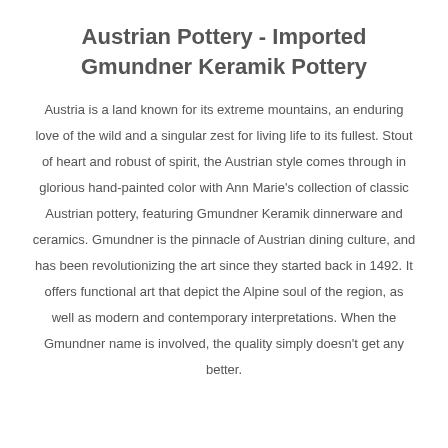Austrian Pottery - Imported Gmundner Keramik Pottery
Austria is a land known for its extreme mountains, an enduring love of the wild and a singular zest for living life to its fullest. Stout of heart and robust of spirit, the Austrian style comes through in glorious hand-painted color with Ann Marie's collection of classic Austrian pottery, featuring Gmundner Keramik dinnerware and ceramics. Gmundner is the pinnacle of Austrian dining culture, and has been revolutionizing the art since they started back in 1492. It offers functional art that depict the Alpine soul of the region, as well as modern and contemporary interpretations. When the Gmundner name is involved, the quality simply doesn't get any better.